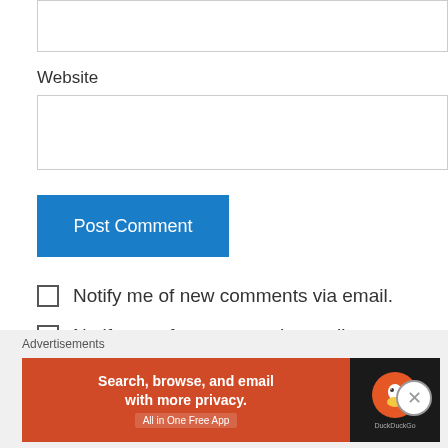Website
Post Comment
Notify me of new comments via email.
Notify me of new posts via email.
Dorothy Kahn on January 19, 2012 at 8:23 am
[Figure (screenshot): Advertisement banner: DuckDuckGo ad - Search, browse, and email with more privacy. All in One Free App]